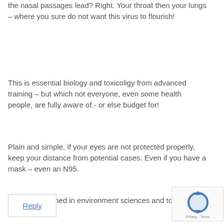the nasal passages lead? Right. Your throat then your lungs – where you sure do not want this virus to flourish!
This is essential biology and toxicoligy from advanced training – but which not everyone, even some health people, are fully aware of.- or else budget for!
Plain and simple, if your eyes are not protected properly, keep your distance from potential cases. Even if you have a mask – even an N95.
BFenerty. Trained in environment sciences and toxicology